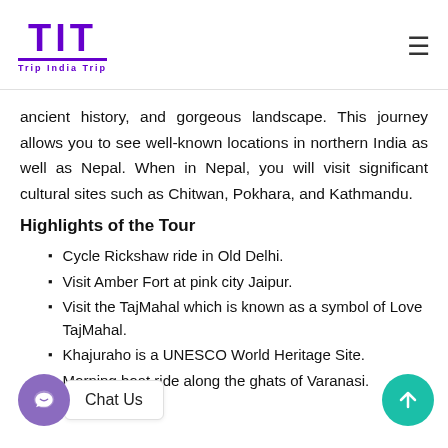TIT Trip India Trip
ancient history, and gorgeous landscape. This journey allows you to see well-known locations in northern India as well as Nepal. When in Nepal, you will visit significant cultural sites such as Chitwan, Pokhara, and Kathmandu.
Highlights of the Tour
Cycle Rickshaw ride in Old Delhi.
Visit Amber Fort at pink city Jaipur.
Visit the TajMahal which is known as a symbol of Love TajMahal.
Khajuraho is a UNESCO World Heritage Site.
Morning boat ride along the ghats of Varanasi.